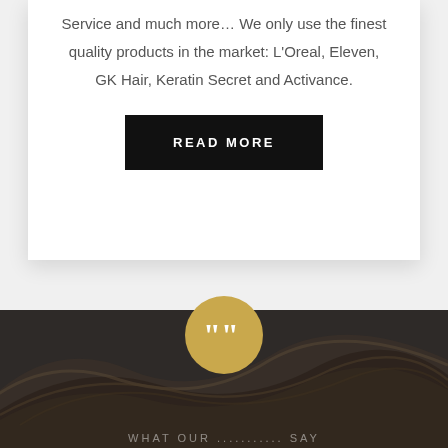Service and much more… We only use the finest quality products in the market: L'Oreal, Eleven, GK Hair, Keratin Secret and Activance.
READ MORE
[Figure (illustration): Golden circle with white quotation marks icon, overlaid on dark hair photograph section. Below is partial text 'WHAT OUR ... SAY' in light text.]